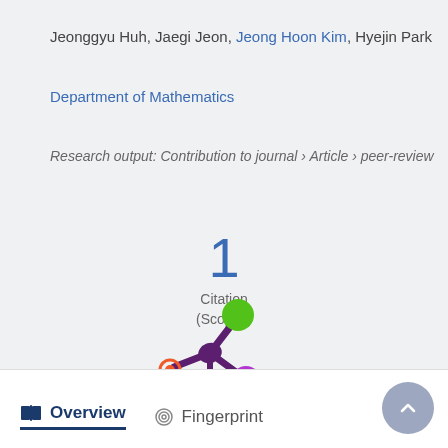Jeonggyu Huh, Jaegi Jeon, Jeong Hoon Kim, Hyejin Park
Department of Mathematics
Research output: Contribution to journal › Article › peer-review
[Figure (infographic): Citation count: 1 Citation (Scopus)]
[Figure (logo): Altmetric logo — colorful splat with orange, green, and purple circles]
Overview   Fingerprint